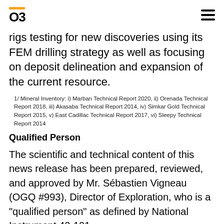O3
rigs testing for new discoveries using its FEM drilling strategy as well as focusing on deposit delineation and expansion of the current resource.
1/ Mineral Inventory: i) Marban Technical Report 2020, ii) Orenada Technical Report 2018, iii) Akasaba Technical Report 2014, iv) Simkar Gold Technical Report 2015, v) East Cadillac Technical Report 2017, vi) Sleepy Technical Report 2014
Qualified Person
The scientific and technical content of this news release has been prepared, reviewed, and approved by Mr. Sébastien Vigneau (OGQ #993), Director of Exploration, who is a "qualified person" as defined by National Instrument 43-101